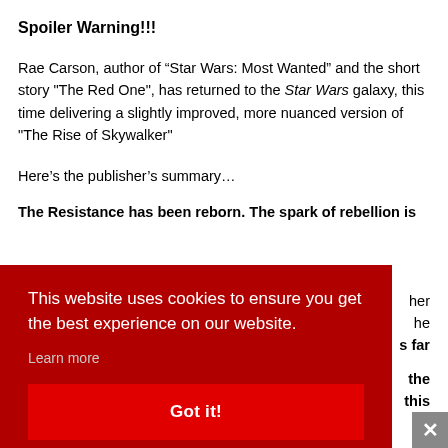Spoiler Warning!!!
Rae Carson, author of “Star Wars: Most Wanted” and the short story "The Red One", has returned to the Star Wars galaxy, this time delivering a slightly improved, more nuanced version of "The Rise of Skywalker"
Here’s the publisher’s summary…
The Resistance has been reborn. The spark of rebellion is [partially obscured by cookie banner]
[Figure (screenshot): Cookie consent overlay with dark red background. Text reads: 'This website uses cookies to ensure you get the best experience on our website.' with a 'Learn more' link and a 'Got it!' button. A grey close/X button appears in the bottom right corner.]